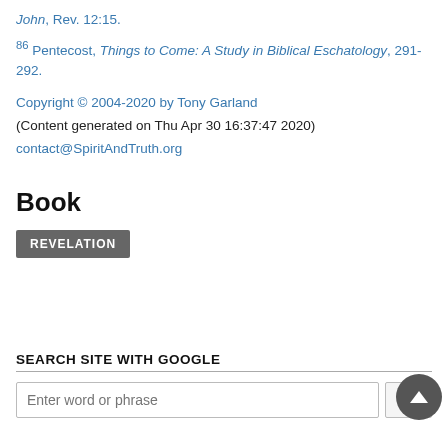John, Rev. 12:15.
86 Pentecost, Things to Come: A Study in Biblical Eschatology, 291-292.
Copyright © 2004-2020 by Tony Garland
(Content generated on Thu Apr 30 16:37:47 2020)
contact@SpiritAndTruth.org
Book
REVELATION
SEARCH SITE WITH GOOGLE
Enter word or phrase